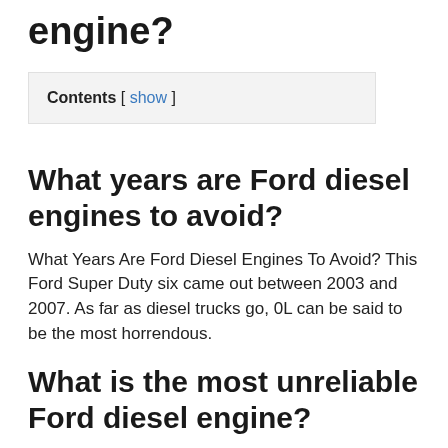engine?
Contents [ show ]
What years are Ford diesel engines to avoid?
What Years Are Ford Diesel Engines To Avoid? This Ford Super Duty six came out between 2003 and 2007. As far as diesel trucks go, 0L can be said to be the most horrendous.
What is the most unreliable Ford diesel engine?